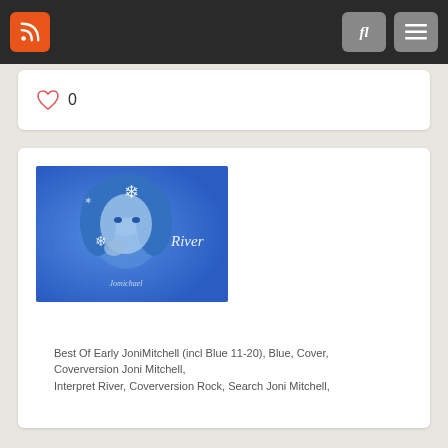RSS | Search | Menu
[Figure (screenshot): Heart/like icon with count 0]
[Figure (photo): Blue-tinted photo of a woman with snowflake decorations and the word River overlaid]
River – Joni-Mitchell Cover
Best Of Early JoniMitchell (incl Blue 11-20), Blue, Cover, Coverversion Joni Mitchell, Interpret River, Coverversion Rock, Search Joni Mitchell,